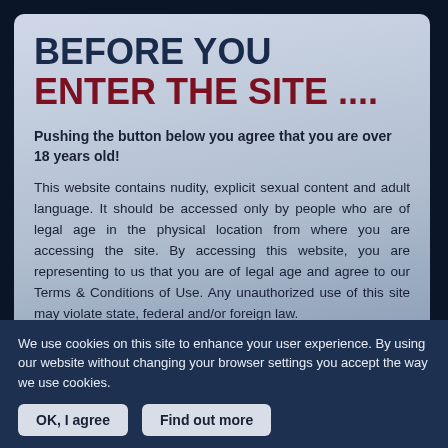BEFORE YOU ENTER THE SITE ....
Pushing the button below you agree that you are over 18 years old!
This website contains nudity, explicit sexual content and adult language. It should be accessed only by people who are of legal age in the physical location from where you are accessing the site. By accessing this website, you are representing to us that you are of legal age and agree to our Terms & Conditions of Use. Any unauthorized use of this site may violate state, federal and/or foreign law.
While EscortKingdom does not create nor produce any content listed on our ads, all of our advertisements must comply with our age and content standards. All advertiser content contained in this website are provided to EscortKingdom.co.uk by individuals for the purposes of paid advertisements and are the sole responsibility of
We use cookies on this site to enhance your user experience. By using our website without changing your browser settings you accept the way we use cookies.
OK, I agree
Find out more